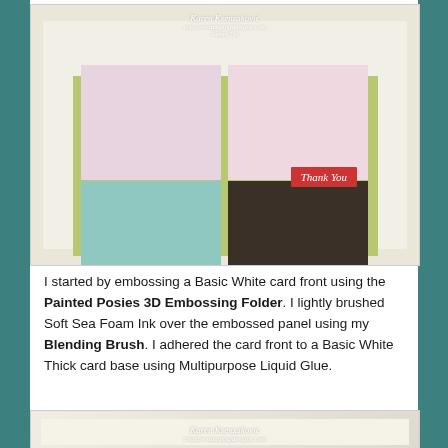[Figure (photo): Photograph of a handmade greeting card with mosaic-style panels showing arch cutouts, floral and leaf patterns in pink, teal, green, and dark brown. Features a 'Thank You' red banner. Watermark reads 'Karen Ksenzakovic / creativestampingdesigns.com' at top.]
I started by embossing a Basic White card front using the Painted Posies 3D Embossing Folder. I lightly brushed Soft Sea Foam Ink over the embossed panel using my Blending Brush. I adhered the card front to a Basic White Thick card base using Multipurpose Liquid Glue.
[Figure (photo): Partial photograph of another handmade card, showing the top portion with watermark 'Karen Ksenzakovic / creativestampingdesigns.com' visible.]